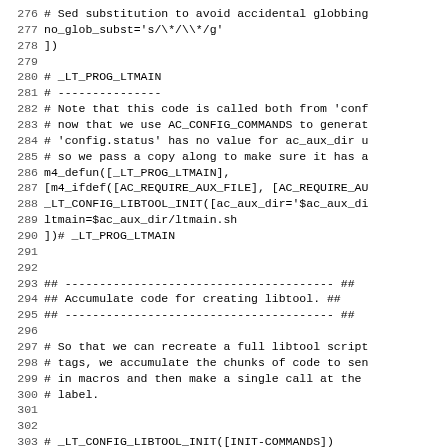276 # Sed substitution to avoid accidental globbing
277 no_glob_subst='s/\*/\\*/g'
278 ])
279 
280 # _LT_PROG_LTMAIN
281 # ---------------
282 # Note that this code is called both from 'conf
283 # now that we use AC_CONFIG_COMMANDS to generat
284 # 'config.status' has no value for ac_aux_dir u
285 # so we pass a copy along to make sure it has a
286 m4_defun([_LT_PROG_LTMAIN],
287 [m4_ifdef([AC_REQUIRE_AUX_FILE], [AC_REQUIRE_AU
288 _LT_CONFIG_LIBTOOL_INIT([ac_aux_dir='$ac_aux_di
289 ltmain=$ac_aux_dir/ltmain.sh
290 ])# _LT_PROG_LTMAIN
291 
292 
293 ## --------------------------------------- ##
294 ## Accumulate code for creating libtool. ##
295 ## --------------------------------------- ##
296 
297 # So that we can recreate a full libtool script
298 # tags, we accumulate the chunks of code to sen
299 # in macros and then make a single call at the
300 # label.
301 
302 
303 # _LT_CONFIG_LIBTOOL_INIT([INIT-COMMANDS])
304 # -----------------------------------------
305 # Register INIT-COMMANDS to be passed to AC_CON